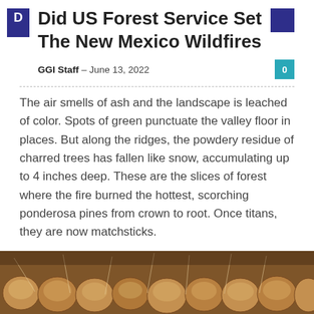Did US Forest Service Set The New Mexico Wildfires
GGI Staff – June 13, 2022
The air smells of ash and the landscape is leached of color. Spots of green punctuate the valley floor in places. But along the ridges, the powdery residue of charred trees has fallen like snow, accumulating up to 4 inches deep. These are the slices of forest where the fire burned the hottest, scorching ponderosa pines from crown to root. Once titans, they are now matchsticks.
Read more
[Figure (photo): Close-up photograph of round brown objects, possibly seed pods or similar natural items, arranged in a container with light-colored strings or wires visible.]